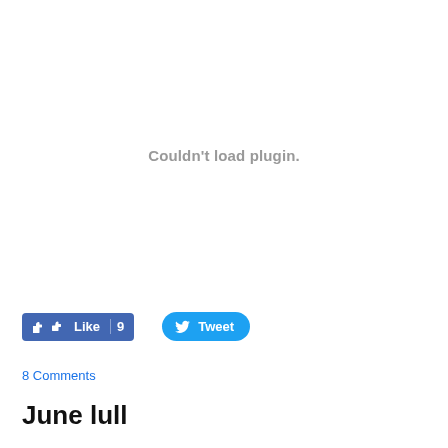[Figure (other): Embedded media plugin area showing 'Couldn't load plugin.' error message in gray text centered in a large white space]
[Figure (other): Facebook Like button showing thumbs up icon and 'Like 9' in white text on blue background, and a Twitter Tweet button with bird icon in white text on blue rounded background]
8 Comments
June lull